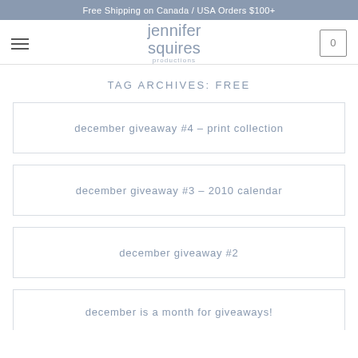Free Shipping on Canada / USA Orders $100+
[Figure (logo): Jennifer Squires Productions logo with hamburger menu icon on left and cart icon with 0 on right]
TAG ARCHIVES: FREE
december giveaway #4 – print collection
december giveaway #3 – 2010 calendar
december giveaway #2
december is a month for giveaways!